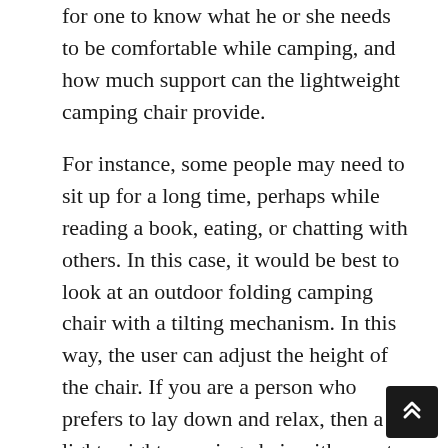for one to know what he or she needs to be comfortable while camping, and how much support can the lightweight camping chair provide.
For instance, some people may need to sit up for a long time, perhaps while reading a book, eating, or chatting with others. In this case, it would be best to look at an outdoor folding camping chair with a tilting mechanism. In this way, the user can adjust the height of the chair. If you are a person who prefers to lay down and relax, then a lightweight camping chair with a cast iron frame would be best. These chairs typically have a very high back. Others will be more comfortable sitting on a bench-style chair, perhaps one that has arms on the front.
As with most things, some materials are better than others. When choosing a camping chair, choose one that is made of a hardwood or aluminum frame. Some of the more choices include comfort and...